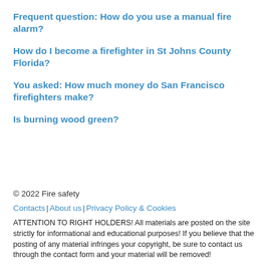Frequent question: How do you use a manual fire alarm?
How do I become a firefighter in St Johns County Florida?
You asked: How much money do San Francisco firefighters make?
Is burning wood green?
© 2022 Fire safety
Contacts | About us | Privacy Policy & Cookies
ATTENTION TO RIGHT HOLDERS! All materials are posted on the site strictly for informational and educational purposes! If you believe that the posting of any material infringes your copyright, be sure to contact us through the contact form and your material will be removed!